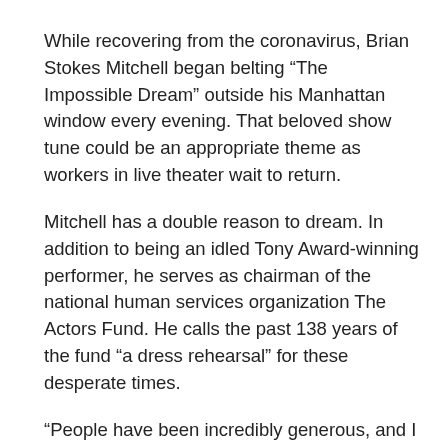While recovering from the coronavirus, Brian Stokes Mitchell began belting “The Impossible Dream” outside his Manhattan window every evening. That beloved show tune could be an appropriate theme as workers in live theater wait to return.
Mitchell has a double reason to dream. In addition to being an idled Tony Award-winning performer, he serves as chairman of the national human services organization The Actors Fund. He calls the past 138 years of the fund “a dress rehearsal” for these desperate times.
“People have been incredibly generous, and I would almost use the word ‘surprisingly,’” he says. “I use that word because people are always incredibly supportive and fun, but just because everybody’s hurting now.”